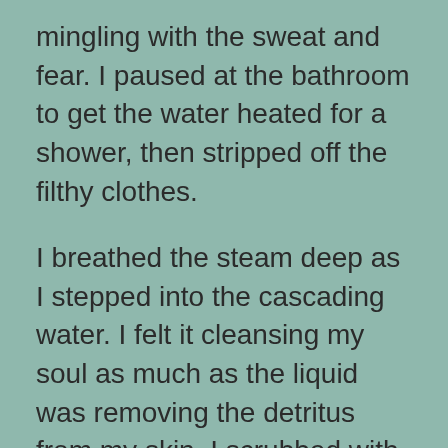mingling with the sweat and fear. I paused at the bathroom to get the water heated for a shower, then stripped off the filthy clothes.
I breathed the steam deep as I stepped into the cascading water. I felt it cleansing my soul as much as the liquid was removing the detritus from my skin. I scrubbed with the harsh hotel soap until I was sure that not a single particle from the underground could remain. Then, to be safe, I rinsed and scrubbed again.
I wanted to remove all trace of my excursion to find but not be and a general state and